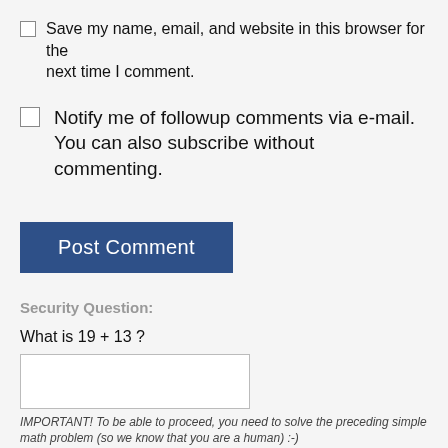Save my name, email, and website in this browser for the next time I comment.
Notify me of followup comments via e-mail. You can also subscribe without commenting.
Post Comment
Security Question:
What is 19 + 13 ?
IMPORTANT! To be able to proceed, you need to solve the preceding simple math problem (so we know that you are a human) :-)
FREE SUBSCRIPTION: WEEKLY TRAFFIC AND INCOME SECRETS EZINE